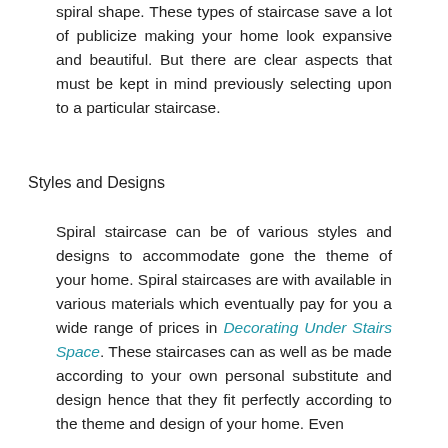spiral shape. These types of staircase save a lot of publicize making your home look expansive and beautiful. But there are clear aspects that must be kept in mind previously selecting upon to a particular staircase.
Styles and Designs
Spiral staircase can be of various styles and designs to accommodate gone the theme of your home. Spiral staircases are with available in various materials which eventually pay for you a wide range of prices in Decorating Under Stairs Space. These staircases can as well as be made according to your own personal substitute and design hence that they fit perfectly according to the theme and design of your home. Even